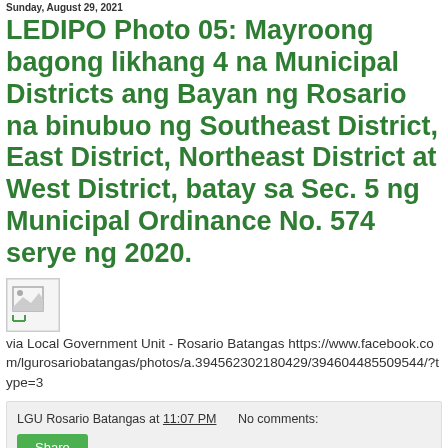Sunday, August 29, 2021
LEDIPO Photo 05: Mayroong bagong likhang 4 na Municipal Districts ang Bayan ng Rosario na binubuo ng Southeast District, East District, Northeast District at West District, batay sa Sec. 5 ng Municipal Ordinance No. 574 serye ng 2020.
[Figure (photo): Broken/missing image placeholder]
via Local Government Unit - Rosario Batangas https://www.facebook.com/lgurosariobatangas/photos/a.394562302180429/394604485509544/?type=3
LGU Rosario Batangas at 11:07 PM    No comments:
Share